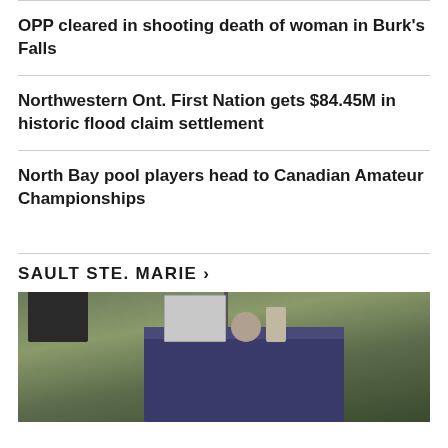OPP cleared in shooting death of woman in Burk's Falls
Northwestern Ont. First Nation gets $84.45M in historic flood claim settlement
North Bay pool players head to Canadian Amateur Championships
SAULT STE. MARIE >
[Figure (photo): Outdoor scene with a table covered in a blue tablecloth displaying various items, set on a grassy field. A black chair is visible on the left and a vertical pole in the background.]